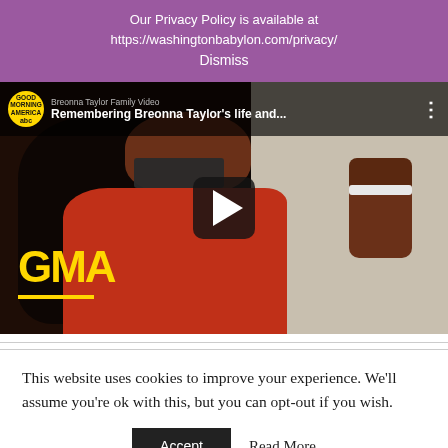Our Privacy Policy is available at https://washingtonbabylon.com/privacy/
Dismiss
[Figure (screenshot): YouTube video thumbnail showing a GMA (Good Morning America) video titled 'Remembering Breonna Taylor's life and...' with a woman in a red top wearing a mask, raising a fist, with the GMA logo in yellow at the bottom left. A play button is overlaid in the center.]
This website uses cookies to improve your experience. We'll assume you're ok with this, but you can opt-out if you wish.
Accept   Read More